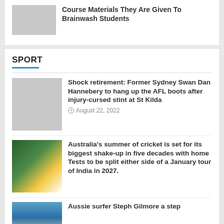Course Materials They Are Given To Brainwash Students
SPORT
Shock retirement: Former Sydney Swan Dan Hannebery to hang up the AFL boots after injury-cursed stint at St Kilda
August 22, 2022
Australia's summer of cricket is set for its biggest shake-up in five decades with home Tests to be split either side of a January tour of India in 2027.
Aussie surfer Steph Gilmore a step